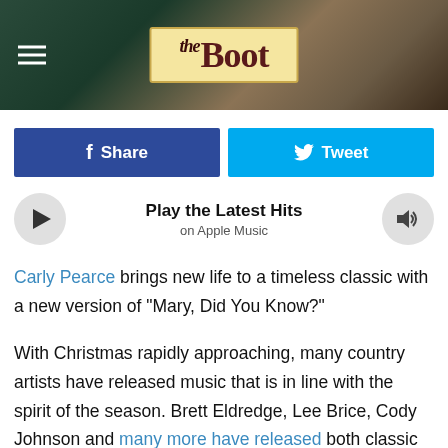[Figure (screenshot): The Boot website header banner with logo on leather/denim background and hamburger menu icon]
[Figure (infographic): Social share buttons: Facebook Share (dark blue) and Twitter Tweet (light blue)]
[Figure (infographic): Apple Music player bar: play button, 'Play the Latest Hits on Apple Music' text, sound button]
Carly Pearce brings new life to a timeless classic with a new version of "Mary, Did You Know?"
With Christmas rapidly approaching, many country artists have released music that is in line with the spirit of the season. Brett Eldredge, Lee Brice, Cody Johnson and many more have released both classic and original Christmas songs just in time for the holidays.